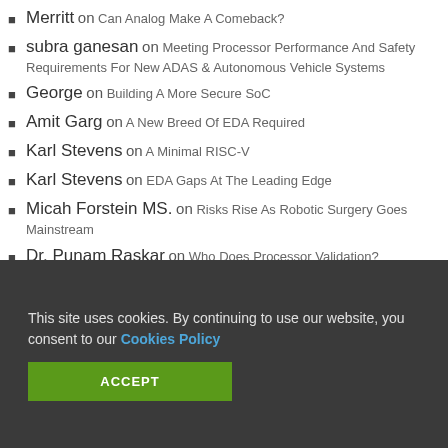Merritt on Can Analog Make A Comeback?
subra ganesan on Meeting Processor Performance And Safety Requirements For New ADAS & Autonomous Vehicle Systems
George on Building A More Secure SoC
Amit Garg on A New Breed Of EDA Required
Karl Stevens on A Minimal RISC-V
Karl Stevens on EDA Gaps At The Leading Edge
Micah Forstein MS. on Risks Rise As Robotic Surgery Goes Mainstream
Dr. Punam Raskar on Who Does Processor Validation?
Dr. Dev Gupta on Variation Making Trouble In Advanced
This site uses cookies. By continuing to use our website, you consent to our Cookies Policy
ACCEPT